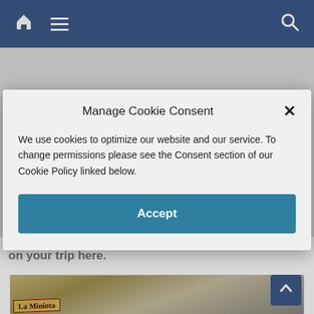[Figure (screenshot): Website navigation bar with home icon, hamburger menu, and search icon on blue background]
City airport if you do not want to run the DI gauntlet on your trip here.
[Figure (photo): Photo showing a sign reading La Miniota at bottom of page]
Manage Cookie Consent
We use cookies to optimize our website and our service. To change permissions please see the Consent section of our Cookie Policy linked below.
Accept